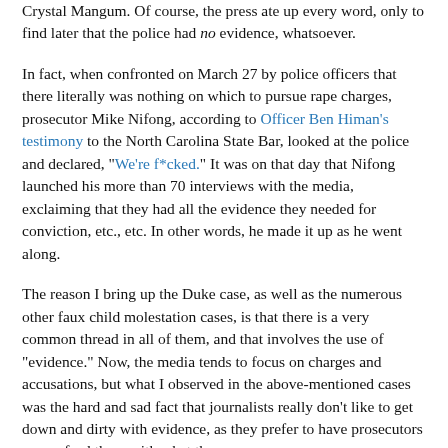Crystal Mangum. Of course, the press ate up every word, only to find later that the police had no evidence, whatsoever.
In fact, when confronted on March 27 by police officers that there literally was nothing on which to pursue rape charges, prosecutor Mike Nifong, according to Officer Ben Himan's testimony to the North Carolina State Bar, looked at the police and declared, "We're f*cked." It was on that day that Nifong launched his more than 70 interviews with the media, exclaiming that they had all the evidence they needed for conviction, etc., etc. In other words, he made it up as he went along.
The reason I bring up the Duke case, as well as the numerous other faux child molestation cases, is that there is a very common thread in all of them, and that involves the use of "evidence." Now, the media tends to focus on charges and accusations, but what I observed in the above-mentioned cases was the hard and sad fact that journalists really don't like to get down and dirty with evidence, as they prefer to have prosecutors spoon-feed them with what they